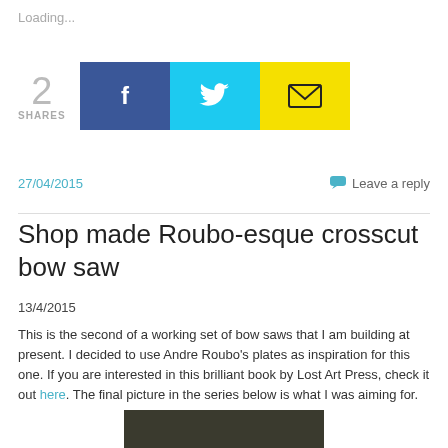Loading...
[Figure (infographic): Share count showing '2 SHARES' with Facebook (blue), Twitter (cyan), and Email (yellow) share buttons]
27/04/2015
Leave a reply
Shop made Roubo-esque crosscut bow saw
13/4/2015
This is the second of a working set of bow saws that I am building at present. I decided to use Andre Roubo's plates as inspiration for this one. If you are interested in this brilliant book by Lost Art Press, check it out here. The final picture in the series below is what I was aiming for.
[Figure (photo): Partial view of a dark olive/brown coloured image, likely a woodworking photo]